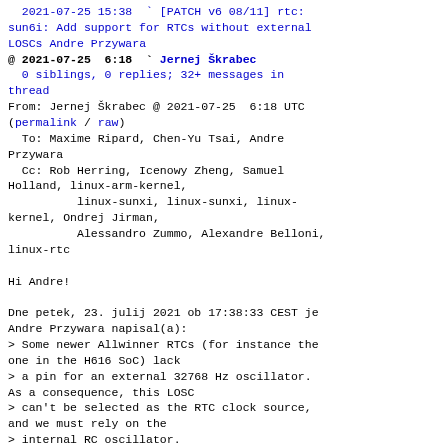2021-07-25 15:38 ` [PATCH v6 08/11] rtc: sun6i: Add support for RTCs without external LOSCs Andre Przywara
@ 2021-07-25  6:18 ` Jernej Škrabec
  0 siblings, 0 replies; 32+ messages in thread
From: Jernej Škrabec @ 2021-07-25  6:18 UTC
(permalink / raw)
  To: Maxime Ripard, Chen-Yu Tsai, Andre Przywara
  Cc: Rob Herring, Icenowy Zheng, Samuel Holland, linux-arm-kernel,
          linux-sunxi, linux-sunxi, linux-kernel, Ondrej Jirman,
          Alessandro Zummo, Alexandre Belloni, linux-rtc

Hi Andre!

Dne petek, 23. julij 2021 ob 17:38:33 CEST je Andre Przywara napisal(a):
> Some newer Allwinner RTCs (for instance the one in the H616 SoC) lack
> a pin for an external 32768 Hz oscillator. As a consequence, this LOSC
> can't be selected as the RTC clock source, and we must rely on the
> internal RC oscillator.
> To allow additions of clocks to the RTC node, add a feature bit to ignore
> any provided clocks for now (the current